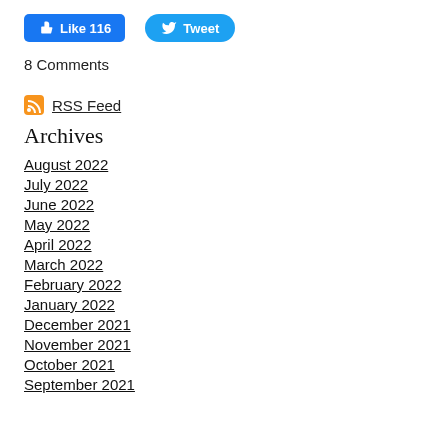[Figure (screenshot): Facebook Like button showing 116 likes and Twitter Tweet button]
8 Comments
[Figure (logo): RSS Feed icon and link]
Archives
August 2022
July 2022
June 2022
May 2022
April 2022
March 2022
February 2022
January 2022
December 2021
November 2021
October 2021
September 2021